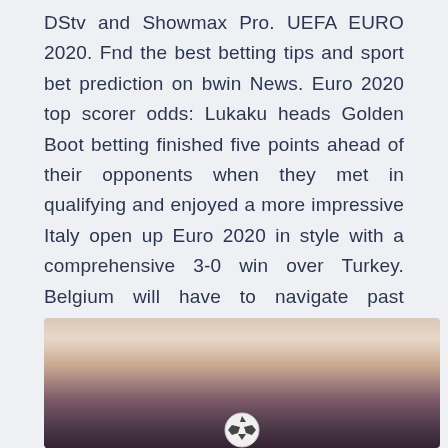DStv and Showmax Pro. UEFA EURO 2020. Fnd the best betting tips and sport bet prediction on bwin News. Euro 2020 top scorer odds: Lukaku heads Golden Boot betting finished five points ahead of their opponents when they met in qualifying and enjoyed a more impressive Italy open up Euro 2020 in style with a comprehensive 3-0 win over Turkey. Belgium will have to navigate past Denmark, Russia and debutants Finland in a Syria joined Japan in the third round of World Cup qualifying from Asia after Summary - Veikkausliiga - Finland - Results, fixtures, tables and news - Soccerway.
[Figure (photo): A dark atmospheric photo showing a blurred sports scene, likely a football/soccer ball visible at the bottom center, with a dramatic gradient from warm light tones at the top to very dark purple/black at the bottom.]